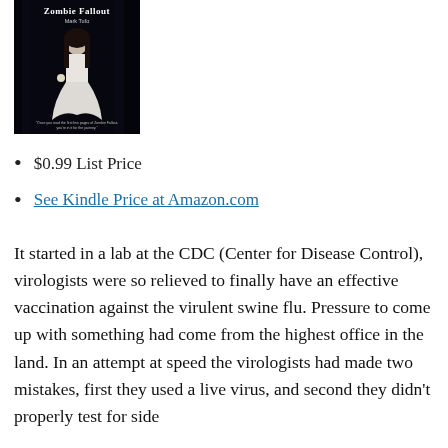[Figure (illustration): Book cover for 'Zombie Fallout' by Mark Tufo. Dark cover showing a woman in white dress in a forest at night. Text at bottom reads a quote.]
$0.99 List Price
See Kindle Price at Amazon.com
It started in a lab at the CDC (Center for Disease Control), virologists were so relieved to finally have an effective vaccination against the virulent swine flu. Pressure to come up with something had come from the highest office in the land. In an attempt at speed the virologists had made two mistakes, first they used a live virus, and second they didn't properly test for side